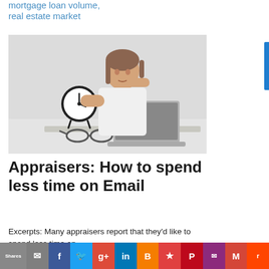mortgage loan volume, real estate market
[Figure (photo): Woman at desk holding an alarm clock, looking frustrated, with a laptop and glasses on the desk]
Appraisers: How to spend less time on Email
Excerpts: Many appraisers report that they'd like to spend less time on
Shares [email] [facebook] [twitter] [google+] [linkedin] [blogger] [star] [pinterest] [outlook] [gmail] [reddit]